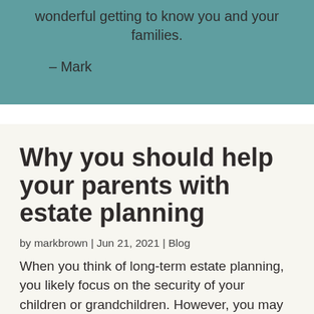wonderful getting to know you and your families.

– Mark
Why you should help your parents with estate planning
by markbrown | Jun 21, 2021 | Blog
When you think of long-term estate planning, you likely focus on the security of your children or grandchildren. However, you may need to consider helping your parents, too.